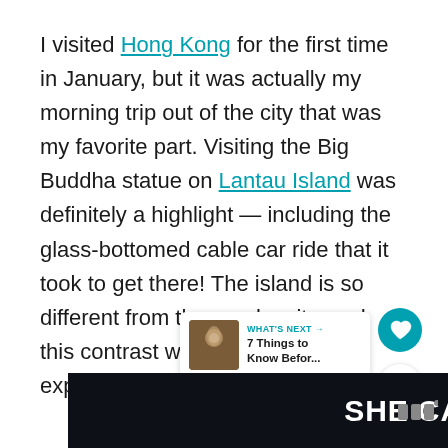I visited Hong Kong for the first time in January, but it was actually my morning trip out of the city that was my favorite part. Visiting the Big Buddha statue on Lantau Island was definitely a highlight — including the glass-bottomed cable car ride that it took to get there! The island is so different from the nearby city, and this contrast was nice to see and experience.
[Figure (other): Teal circular heart/like button]
[Figure (other): White circular share button with share icon]
[Figure (other): What's Next card showing thumbnail image of Buddha statue with text: WHAT'S NEXT → 7 Things to Know Befor...]
[Figure (other): SHE CAN STEM advertisement banner on dark background]